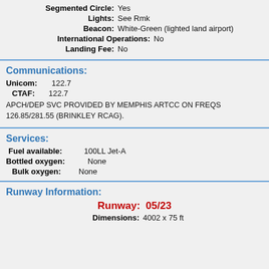Segmented Circle: Yes
Lights: See Rmk
Beacon: White-Green (lighted land airport)
International Operations: No
Landing Fee: No
Communications:
Unicom: 122.7
CTAF: 122.7
APCH/DEP SVC PROVIDED BY MEMPHIS ARTCC ON FREQS 126.85/281.55 (BRINKLEY RCAG).
Services:
Fuel available: 100LL Jet-A
Bottled oxygen: None
Bulk oxygen: None
Runway Information:
Runway: 05/23
Dimensions: 4002 x 75 ft